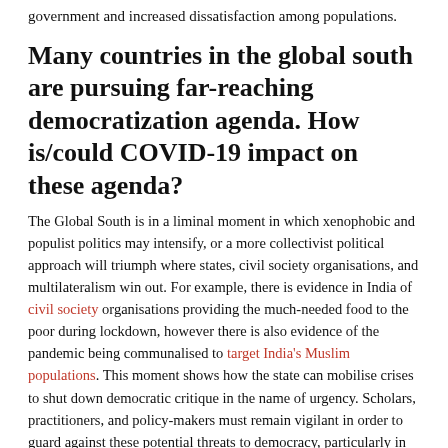government and increased dissatisfaction among populations.
Many countries in the global south are pursuing far-reaching democratization agenda. How is/could COVID-19 impact on these agenda?
The Global South is in a liminal moment in which xenophobic and populist politics may intensify, or a more collectivist political approach will triumph where states, civil society organisations, and multilateralism win out. For example, there is evidence in India of civil society organisations providing the much-needed food to the poor during lockdown, however there is also evidence of the pandemic being communalised to target India's Muslim populations. This moment shows how the state can mobilise crises to shut down democratic critique in the name of urgency. Scholars, practitioners, and policy-makers must remain vigilant in order to guard against these potential threats to democracy, particularly in states where authoritarian tendencies are using such restrictions to quash opposition activism. In Senegal, for example, a recent study found that more than 80% of the population is suffering from the economic conditions due to lockdown, yet more than 80% approve of the government measures and are ready to comply. The